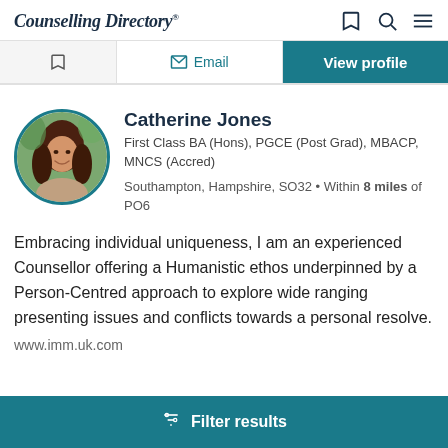Counselling Directory
Email | View profile
[Figure (photo): Circular profile photo of Catherine Jones, a woman with long brown hair, smiling, with trees visible in the background. Photo has a teal circular border.]
Catherine Jones
First Class BA (Hons), PGCE (Post Grad), MBACP, MNCS (Accred)
Southampton, Hampshire, SO32 • Within 8 miles of PO6
Embracing individual uniqueness, I am an experienced Counsellor offering a Humanistic ethos underpinned by a Person-Centred approach to explore wide ranging presenting issues and conflicts towards a personal resolve.
www.imm.uk.com
Filter results